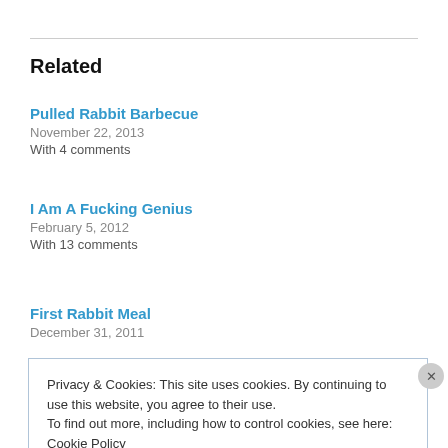Related
Pulled Rabbit Barbecue
November 22, 2013
With 4 comments
I Am A Fucking Genius
February 5, 2012
With 13 comments
First Rabbit Meal
December 31, 2011
Privacy & Cookies: This site uses cookies. By continuing to use this website, you agree to their use.
To find out more, including how to control cookies, see here: Cookie Policy